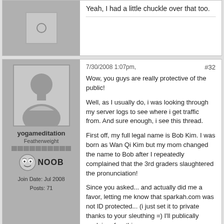Yeah, I had a little chuckle over that too.
7/30/2008 1:07pm, #32
[Figure (illustration): Forum user avatar placeholder - large grey silhouette of a person]
yogameditation
Featherweight
Join Date: Jul 2008
Posts: 71
Wow, you guys are really protective of the public!

Well, as I usually do, i was looking through my server logs to see where i get traffic from. And sure enough, i see this thread.

First off, my full legal name is Bob Kim. I was born as Wan Qi Kim but my mom changed the name to Bob after I repeatedly complained that the 3rd graders slaughtered the pronunciation!

Since you asked... and actually did me a favor, letting me know that sparkah.com was not ID protected... (i just set it to private thanks to your sleuthing =) I'll publically explain a few things so you can conserve gasoline driving to my old offices in cardiff.

About 10 years ago, i was a monk. I worked my whole life to get to the point where I'd be accepted in monastic service. I had a car accident and had to leave the